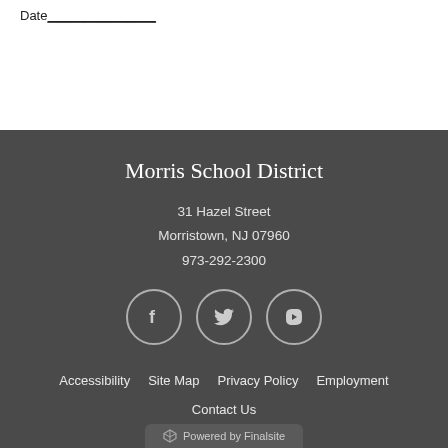Date_______________
Morris School District
31 Hazel Street
Morristown, NJ 07960
973-292-2300
[Figure (illustration): Three social media icon circles: Facebook, Twitter, YouTube]
Accessibility   Site Map   Privacy Policy   Employment
Contact Us
Powered by Finalsite